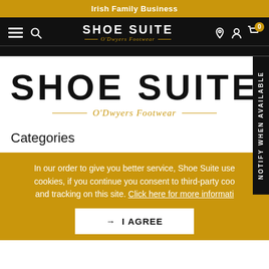Irish Family Business
[Figure (logo): Shoe Suite O'Dwyers Footwear logo in white on black navigation bar with hamburger menu, search, location, account, and cart icons]
[Figure (logo): Large Shoe Suite O'Dwyers Footwear logo on white background]
Categories
In our order to give you better service, Shoe Suite uses cookies, if you continue you consent to third-party cookies and tracking on this site. Click here for more information
→ I AGREE
NOTIFY WHEN AVAILABLE